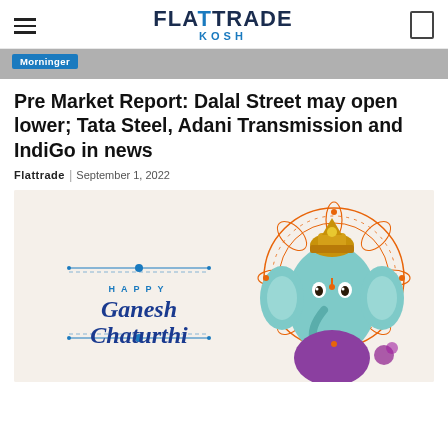FLATTRADE KOSH
[Figure (photo): Morninger banner strip with blue tag]
Pre Market Report: Dalal Street may open lower; Tata Steel, Adani Transmission and IndiGo in news
Flattrade | September 1, 2022
[Figure (illustration): Happy Ganesh Chaturthi illustration with colorful Ganesha deity and orange mandala background]